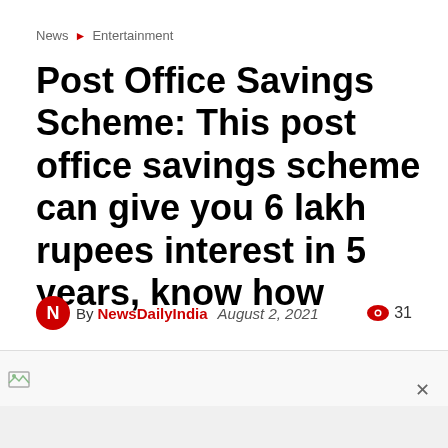News ▶ Entertainment
Post Office Savings Scheme: This post office savings scheme can give you 6 lakh rupees interest in 5 years, know how
By NewsDailyIndia   August 2, 2021   👁 31
[Figure (screenshot): Article header image placeholder with broken image icon]